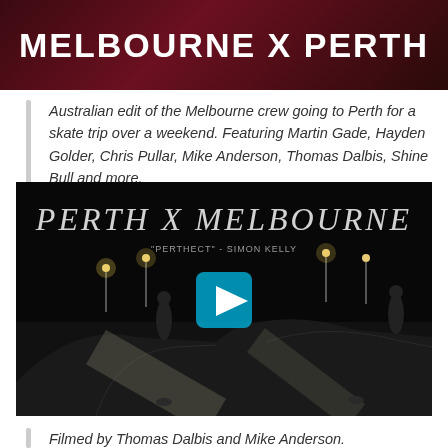[Figure (photo): Dark red/maroon banner with bold white text reading MELBOURNE X PERTH]
Australian edit of the Melbourne crew going to Perth for a skate trip over a weekend. Featuring Martin Gade, Hayden Golder, Chris Pullar, Mike Anderson, Thomas Dalbis, Shine Bull and more.
[Figure (screenshot): Video thumbnail of Perth X Melbourne skate video showing a skate park at night with play button overlay. Text reads PERTH X MELBOURNE and 'PERTHECT' - SIMON KELLY]
Filmed by Thomas Dalbis and Mike Anderson.